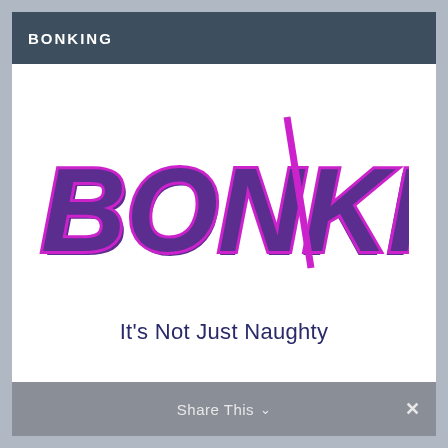BONKING
[Figure (logo): BONKING logo in large bold purple and magenta italicized text with tagline 'It's Not Just Naughty' in dark blue below]
Share This  ∨  ×